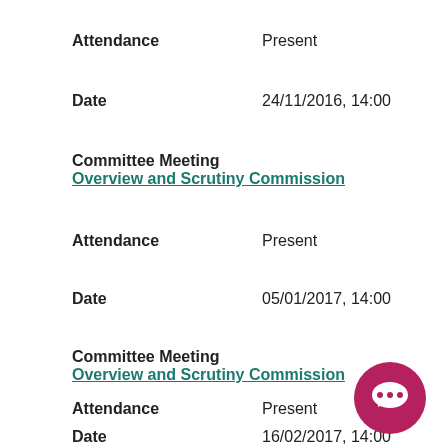Attendance    Present
Date    24/11/2016, 14:00
Committee Meeting    Overview and Scrutiny Commission
Attendance    Present
Date    05/01/2017, 14:00
Committee Meeting    Overview and Scrutiny Commission
Attendance    Present
Date    16/02/2017, 14:00